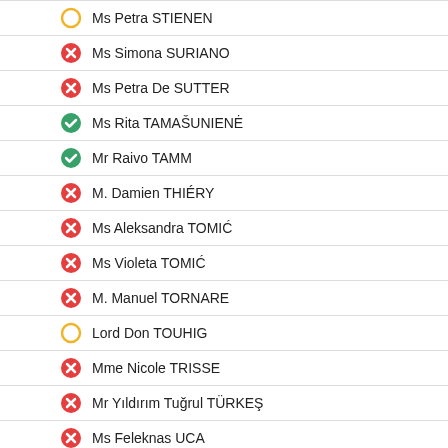Ms Petra STIENEN
Ms Simona SURIANO
Ms Petra De SUTTER
Ms Rita TAMAŠUNIENĖ
Mr Raivo TAMM
M. Damien THIÉRY
Ms Aleksandra TOMIĆ
Ms Violeta TOMIĆ
M. Manuel TORNARE
Lord Don TOUHIG
Mme Nicole TRISSE
Mr Yıldırım Tuğrul TÜRKEŞ
Ms Feleknas UCA
M. Vincent VAN QUICKENBORNE
Mr Egidijus VAREIKIS
Mr Mart van de VEN
M. Stefaan VERCAMER